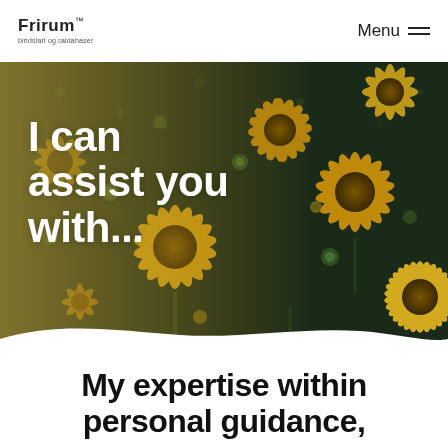Frirum™ – bindslarl og raldahaser | Menu
[Figure (photo): Close-up photograph of yellow chrysanthemum flowers on a dark green background, with a golden/amber warm tone overlay on the left side. The image fills a wide banner area with a decorative wave cut at the bottom.]
I can assist you with...
My expertise within personal guidance,